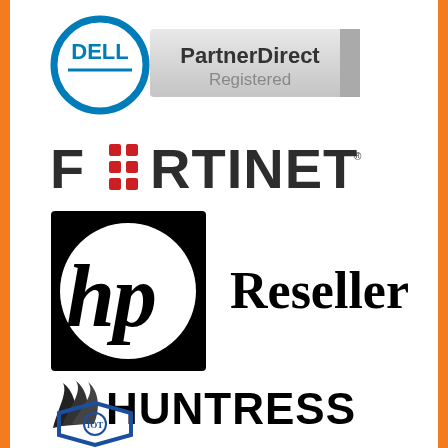[Figure (logo): Dell PartnerDirect Registered logo — Dell blue circle logo on left, PartnerDirect Registered badge on right with gray gradient]
[Figure (logo): Fortinet logo in dark gray/black bold uppercase letters with red dot grid replacing the O]
[Figure (logo): HP logo — black square with white circle containing italic hp letters]
[Figure (logo): Reseller text in large bold serif font]
[Figure (logo): Huntress logo — dark bird/phoenix wing icon followed by HUNTRESS in bold black uppercase letters]
[Figure (logo): IOT logo — hexagonal badge in blue with IOT text and circuit/globe icon inside]